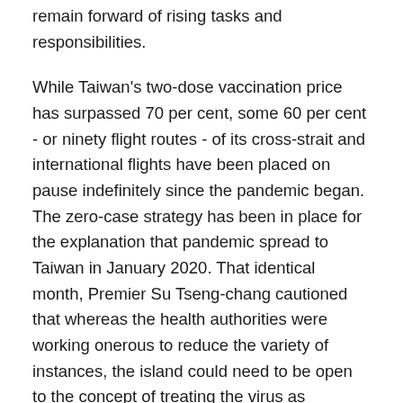remain forward of rising tasks and responsibilities.
While Taiwan's two-dose vaccination price has surpassed 70 per cent, some 60 per cent - or ninety flight routes - of its cross-strait and international flights have been placed on pause indefinitely since the pandemic began. The zero-case strategy has been in place for the explanation that pandemic spread to Taiwan in January 2020. That identical month, Premier Su Tseng-chang cautioned that whereas the health authorities were working onerous to reduce the variety of instances, the island could need to be open to the concept of treating the virus as endemic. For those trying to travel for leisure or enterprise, the island is amongst the hardest locations to enter in the age of Covid-19.
And yet, children requested to engage in a aim they worth are prone to expend extra effort and carry out better (Koufoudakis, Erwin, Beighle, & Thornton,